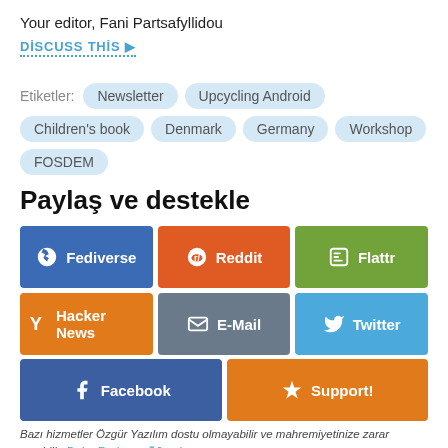Your editor, Fani Partsafyllidou
DISCUSS THIS ▶
Etiketler: Newsletter  Upcycling Android  Children's book  Denmark  Germany  Workshop  FOSDEM
Paylaş ve destekle
[Figure (infographic): Social sharing buttons grid: Fediverse (blue), Reddit (orange), Flattr (green), Hacker News (orange), E-Mail (gray), Twitter (blue), Facebook (blue), Support! (orange)]
Bazı hizmetler Özgür Yazılım dostu olmayabilir ve mahremiyetinize zarar verebilir. Daha Fazlasını Öğrenin.
FSFE'nin aylık bültenine abone olun
English   Abone ol